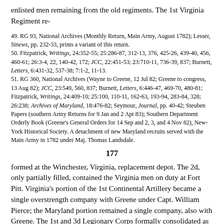enlisted men remaining from the old regiments. The 1st Virginia Regiment re-
49. RG 93, National Archives (Monthly Return, Main Army, August 1782); Lesser, Sinews, pp. 232-33, prints a variant of this return.
50. Fitzpatrick, Writings, 24:352-55; 25:286-87, 312-13, 376, 425-26, 439-40, 456, 460-61; 26:3-4, 22, 140-42, 172; JCC, 22:451-53; 23:710-11, 736-39, 837; Burnett, Letters, 6:431-32, 537-38; 7:1-2, 11-13.
51. RG 360, National Archives (Wayne to Greene, 12 Jul 82; Greene to congress, 13 Aug 82); JCC, 23:549, 560, 837; Burnett, Letters, 6:446-47, 469-70, 480-81; Fitzpatrick, Writings, 24:409-10; 25:100, 110-11, 162-63, 193-94, 283-84, 328; 26:238; Archives of Maryland, 18:476-82; Seymour, Journal, pp. 40-42; Steuben Papers (southern Army Returns for 9 Jan and 2 Apt 83); Southern Department Orderly Book (Greene's General Orders for 14 Sep and 2, 3, and 4 Nov 82), New-York Historical Society. A detachment of new Maryland recruits served with the Main Army in 1782 under Maj. Thomas Landsdale.
177
formed at the Winchester, Virginia, replacement depot. The 2d, only partially filled, contained the Virginia men on duty at Fort Pitt. Virginia's portion of the 1st Continental Artillery became a single overstrength company with Greene under Capt. William Pierce; the Maryland portion remained a single company, also with Greene. The 1st and 3d Legionary Corps formally consolidated as the 1st Legionary Corps, with five troops.52